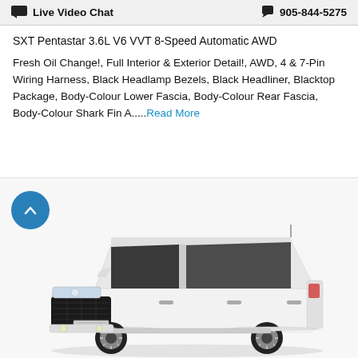Live Video Chat   905-844-5275
SXT Pentastar 3.6L V6 VVT 8-Speed Automatic AWD
Fresh Oil Change!, Full Interior & Exterior Detail!, AWD, 4 & 7-Pin Wiring Harness, Black Headlamp Bezels, Black Headliner, Blacktop Package, Body-Colour Lower Fascia, Body-Colour Rear Fascia, Body-Colour Shark Fin A.....Read More
[Figure (photo): White Dodge Durango SUV shown from a front three-quarter angle on a white background. The vehicle has a black grille, black headlamp surrounds, and silver alloy wheels.]